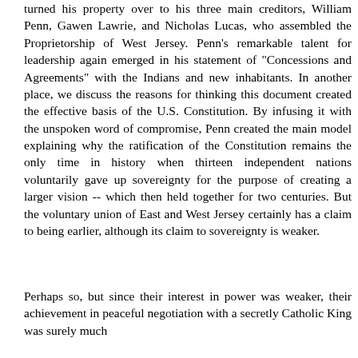turned his property over to his three main creditors, William Penn, Gawen Lawrie, and Nicholas Lucas, who assembled the Proprietorship of West Jersey. Penn's remarkable talent for leadership again emerged in his statement of "Concessions and Agreements" with the Indians and new inhabitants. In another place, we discuss the reasons for thinking this document created the effective basis of the U.S. Constitution. By infusing it with the unspoken word of compromise, Penn created the main model explaining why the ratification of the Constitution remains the only time in history when thirteen independent nations voluntarily gave up sovereignty for the purpose of creating a larger vision -- which then held together for two centuries. But the voluntary union of East and West Jersey certainly has a claim to being earlier, although its claim to sovereignty is weaker.
Perhaps so, but since their interest in power was weaker, their achievement in peaceful negotiation with a secretly Catholic King was surely much